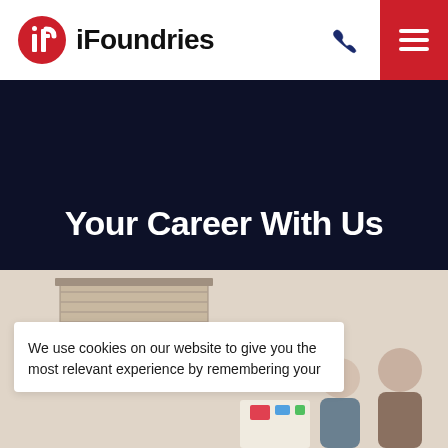iFoundries
Your Career With Us
[Figure (photo): Office scene with window blinds visible and people in background, partially visible]
We use cookies on our website to give you the most relevant experience by remembering your